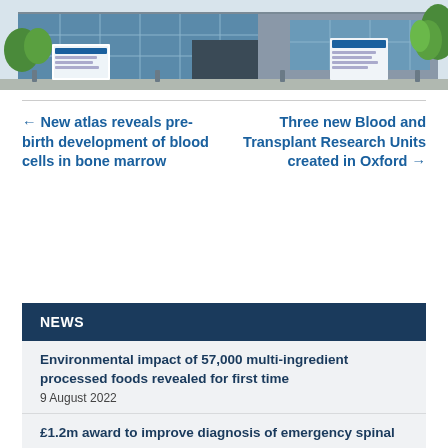[Figure (illustration): Illustration of a modern medical/research building with glass facade, signage boards, bollards, and green trees against a grey sky.]
← New atlas reveals pre-birth development of blood cells in bone marrow
Three new Blood and Transplant Research Units created in Oxford →
NEWS
Environmental impact of 57,000 multi-ingredient processed foods revealed for first time
9 August 2022
£1.2m award to improve diagnosis of emergency spinal